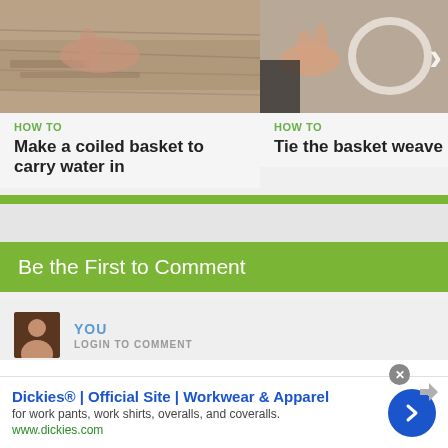[Figure (photo): Photo of hands working with natural materials to make a coiled basket]
HOW TO
Make a coiled basket to carry water in
[Figure (photo): Photo of hands tying a basket weave knot with rope, with right arrow overlay]
HOW TO
Tie the basket weave kno
Be the First to Comment
YOU
LOGIN TO COMMENT
Click to share your thoughts
Dickies® | Official Site | Workwear & Apparel
for work pants, work shirts, overalls, and coveralls.
www.dickies.com